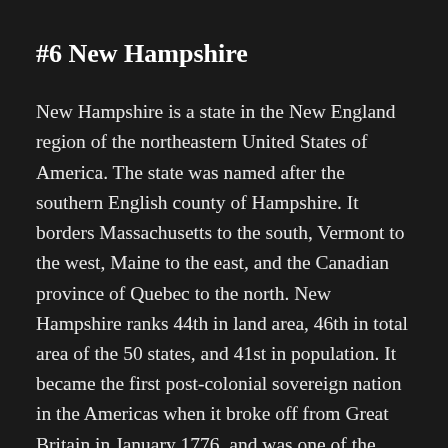#6 New Hampshire
New Hampshire is a state in the New England region of the northeastern United States of America. The state was named after the southern English county of Hampshire. It borders Massachusetts to the south, Vermont to the west, Maine to the east, and the Canadian province of Quebec to the north. New Hampshire ranks 44th in land area, 46th in total area of the 50 states, and 41st in population. It became the first post-colonial sovereign nation in the Americas when it broke off from Great Britain in January 1776, and was one of the original thirteen states